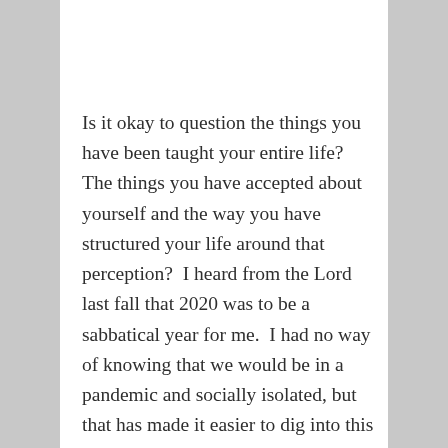Is it okay to question the things you have been taught your entire life?  The things you have accepted about yourself and the way you have structured your life around that perception?  I heard from the Lord last fall that 2020 was to be a sabbatical year for me.  I had no way of knowing that we would be in a pandemic and socially isolated, but that has made it easier to dig into this process, to read, to study, to just sit and listen for anything the Holy Spirit might want to say.